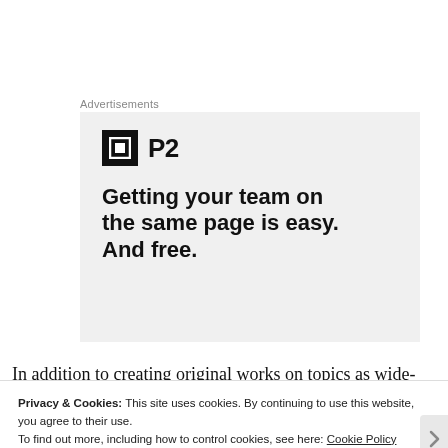Advertisements
[Figure (illustration): Advertisement for P2: logo with black square icon and 'P2' text, with tagline 'Getting your team on the same page is easy. And free.' on a light gray background.]
In addition to creating original works on topics as wide-
Privacy & Cookies: This site uses cookies. By continuing to use this website, you agree to their use.
To find out more, including how to control cookies, see here: Cookie Policy
Close and accept